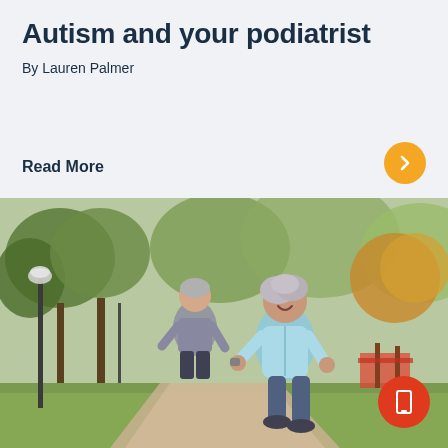Autism and your podiatrist
By Lauren Palmer
Read More
[Figure (photo): Two middle-aged people jogging together on a park path lined with trees. A woman in a light blue jacket is in the foreground smiling, and a man in a grey jacket is behind her. There is a lamp post on the left and playground equipment visible on the right.]